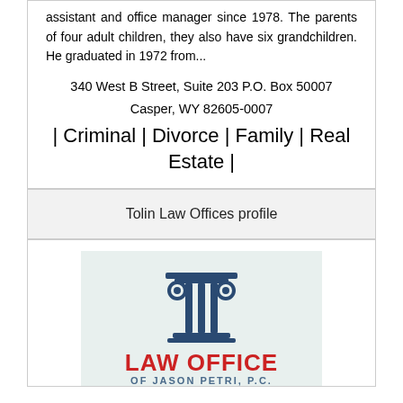assistant and office manager since 1978. The parents of four adult children, they also have six grandchildren. He graduated in 1972 from...
340 West B Street, Suite 203 P.O. Box 50007
Casper, WY 82605-0007
| Criminal | Divorce | Family | Real Estate |
Tolin Law Offices profile
[Figure (logo): Law Office of Jason Petri, P.C. logo with dark blue Greek column icon above red bold text LAW OFFICE and blue subtitle OF JASON PETRI, P.C.]